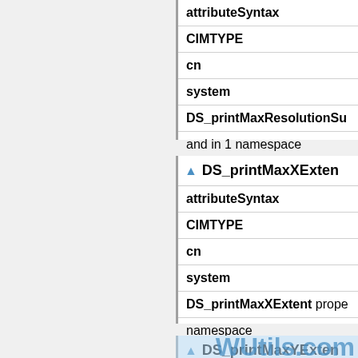| attributeSyntax |
| CIMTYPE |
| cn |
| system |
| DS_printMaxResolutionSu... |
| and in 1 namespace |
▲ DS_printMaxXExten...
| attributeSyntax |
| CIMTYPE |
| cn |
| system |
| DS_printMaxXExtent prope... namespace |
▲ DS_printMaxYExten...
| attributeSyntax |
| CIMTYPE |
| cn |
[Figure (other): WUtils.com watermark overlay on lower right portion of page]